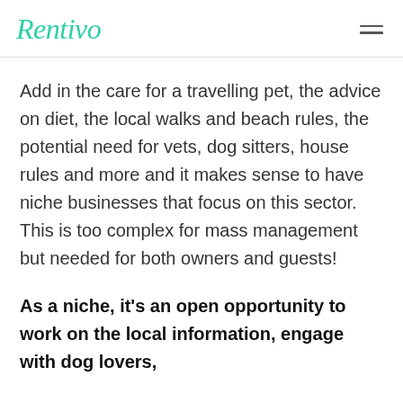Rentivo
Add in the care for a travelling pet, the advice on diet, the local walks and beach rules, the potential need for vets, dog sitters, house rules and more and it makes sense to have niche businesses that focus on this sector. This is too complex for mass management but needed for both owners and guests!
As a niche, it's an open opportunity to work on the local information, engage with dog lovers, [continues below]